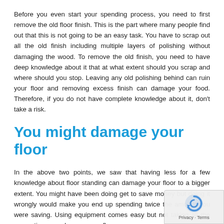Before you even start your spending process, you need to first remove the old floor finish. This is the part where many people find out that this is not going to be an easy task. You have to scrap out all the old finish including multiple layers of polishing without damaging the wood. To remove the old finish, you need to have deep knowledge about it that at what extent should you scrap and where should you stop. Leaving any old polishing behind can ruin your floor and removing excess finish can damage your food. Therefore, if you do not have complete knowledge about it, don't take a risk.
You might damage your floor
In the above two points, we saw that having less for a few knowledge about floor standing can damage your floor to a bigger extent. You might have been doing get to save money but doing it wrongly would make you end up spending twice the amount you were saving. Using equipment comes easy but not taking all the precautions can damage your floor